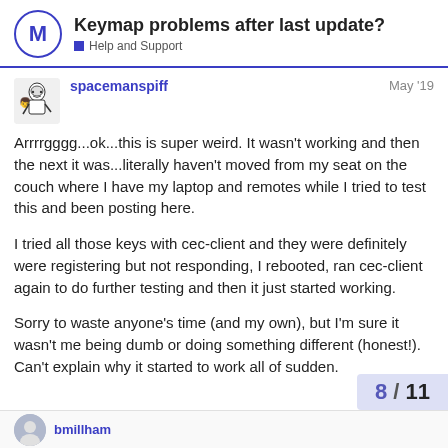Keymap problems after last update? | Help and Support
spacemanspiff
May '19
Arrrrgggg...ok...this is super weird. It wasn't working and then the next it was...literally haven't moved from my seat on the couch where I have my laptop and remotes while I tried to test this and been posting here.

I tried all those keys with cec-client and they were definitely were registering but not responding, I rebooted, ran cec-client again to do further testing and then it just started working.

Sorry to waste anyone's time (and my own), but I'm sure it wasn't me being dumb or doing something different (honest!). Can't explain why it started to work all of sudden.
8 / 11